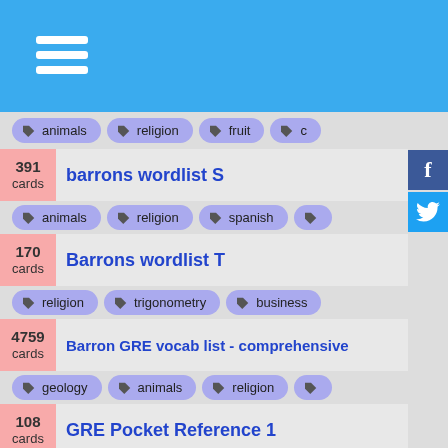[Figure (screenshot): Blue top navigation bar with hamburger menu icon]
animals | religion | fruit | c...
391 cards — barrons wordlist S
Tags: animals | religion | spanish
170 cards — Barrons wordlist T
Tags: religion | trigonometry | business
4759 cards — Barron GRE vocab list - comprehensive
Tags: geology | animals | religion
108 cards — GRE Pocket Reference 1
Tags: chemistry | business | personal
200 cards — science exam
Tags: chemistry | science | information
15 cards — Architecture
Tags: written | construction | ancient
106 cards — (partial)